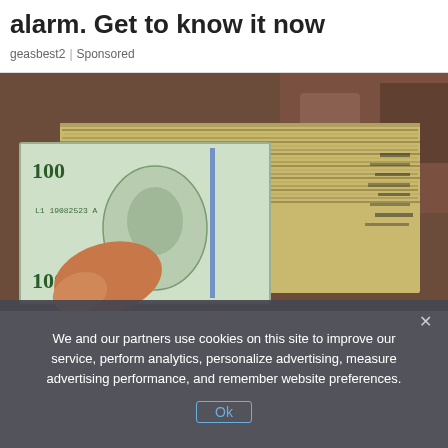alarm. Get to know it now
geasbest2 | Sponsored
[Figure (photo): A hand holding a large stack of $100 US dollar bills fanned out, photographed on a stone/gravel surface]
We and our partners use cookies on this site to improve our service, perform analytics, personalize advertising, measure advertising performance, and remember website preferences.